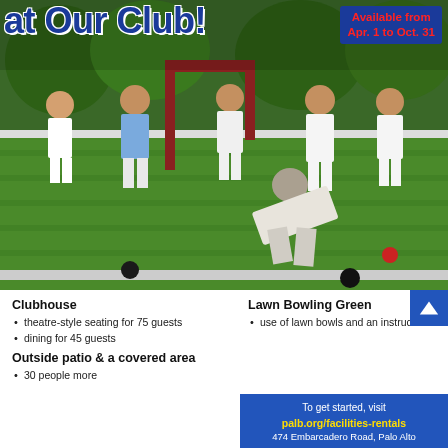Host Your Event at Our Club! Available from Apr. 1 to Oct. 31
[Figure (photo): People playing lawn bowling on an outdoor green, with spectators watching. One player is bent over releasing a bowl, while others in white attire look on. Red and black bowls visible on the green.]
Clubhouse
theatre-style seating for 75 guests
dining for 45 guests
Outside patio & a covered area
30 people more
Lawn Bowling Green
use of lawn bowls and an instructor
To get started, visit palb.org/facilities-rentals 474 Embarcadero Road, Palo Alto